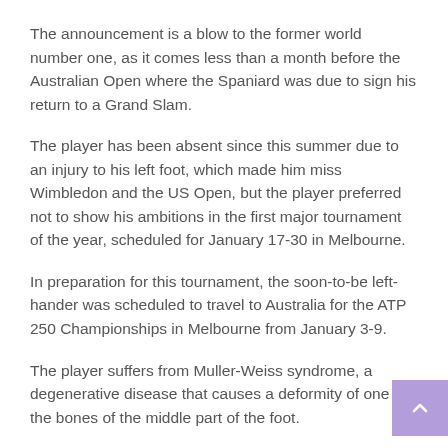The announcement is a blow to the former world number one, as it comes less than a month before the Australian Open where the Spaniard was due to sign his return to a Grand Slam.
The player has been absent since this summer due to an injury to his left foot, which made him miss Wimbledon and the US Open, but the player preferred not to show his ambitions in the first major tournament of the year, scheduled for January 17-30 in Melbourne.
In preparation for this tournament, the soon-to-be left-hander was scheduled to travel to Australia for the ATP 250 Championships in Melbourne from January 3-9.
The player suffers from Muller-Weiss syndrome, a degenerative disease that causes a deformity of one of the bones of the middle part of the foot.
In order to assess his physical condition, Nadal met the audience on Friday at the Abu Dhabi Exhibition Championship. He lost to Andy Murray and Denis Shapovalov,